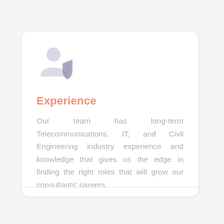[Figure (illustration): A light lavender/grey icon of a person with a shield badge overlay, representing verified or experienced personnel.]
Experience
Our team has long-term Telecommunications, IT, and Civil Engineering industry experience and knowledge that gives us the edge in finding the right roles that will grow our consultants' careers.